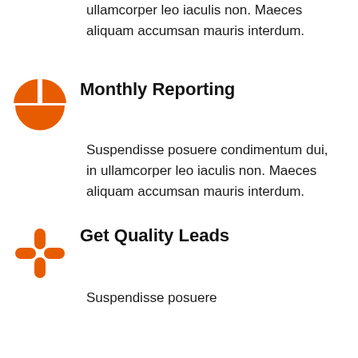ullamcorper leo iaculis non. Maeces aliquam accumsan mauris interdum.
[Figure (illustration): Orange pie chart icon with four quadrants, bottom half filled solid orange, top-left and top-right quadrants shown as separate pieces]
Monthly Reporting
Suspendisse posuere condimentum dui, in ullamcorper leo iaculis non. Maeces aliquam accumsan mauris interdum.
[Figure (illustration): Orange four-pointed cross / plus shape icon with rounded ends on each arm]
Get Quality Leads
Suspendisse posuere